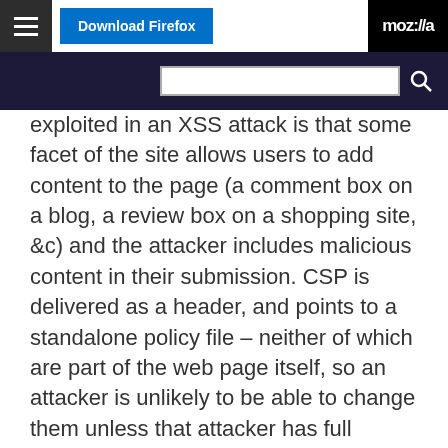Download Firefox | moz://a
exploited in an XSS attack is that some facet of the site allows users to add content to the page (a comment box on a blog, a review box on a shopping site, &c) and the attacker includes malicious content in their submission. CSP is delivered as a header, and points to a standalone policy file – neither of which are part of the web page itself, so an attacker is unlikely to be able to change them unless that attacker has full control of the server itself, in which case no client-based defense will be sufficient.